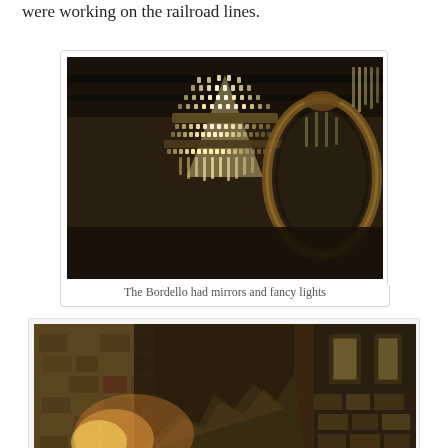were working on the railroad lines.
[Figure (photo): A crystal chandelier hanging from the ceiling next to an ornate oval mirror in a dimly lit bordello interior]
The Bordello had mirrors and fancy lights
[Figure (photo): Interior of a ruined stone building with deteriorating walls and partial collapse visible]